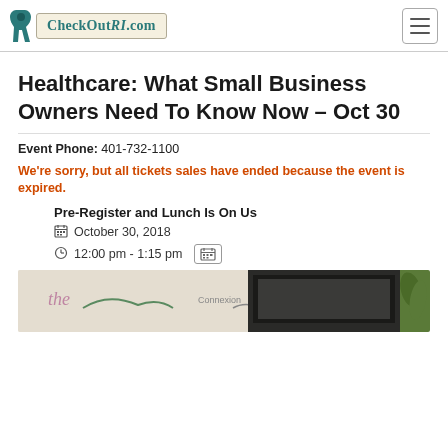CheckOutRI.com
Healthcare: What Small Business Owners Need To Know Now – Oct 30
Event Phone: 401-732-1100
We're sorry, but all tickets sales have ended because the event is expired.
Pre-Register and Lunch Is On Us
October 30, 2018
12:00 pm - 1:15 pm
[Figure (photo): Partial image of a laptop and plant on a light background, marketing image for the event]